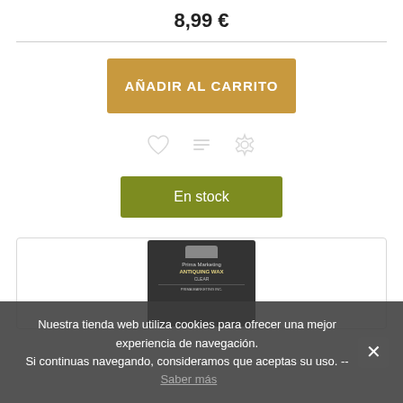8,99 €
AÑADIR AL CARRITO
[Figure (other): Three icon buttons: heart (wishlist), list, and gear/settings, displayed in a horizontal row with gray color]
En stock
[Figure (photo): Product image placeholder showing Prima Marketing Antiquing Wax Clear product packaging on dark background]
Nuestra tienda web utiliza cookies para ofrecer una mejor experiencia de navegación.
Si continuas navegando, consideramos que aceptas su uso. -- Saber más